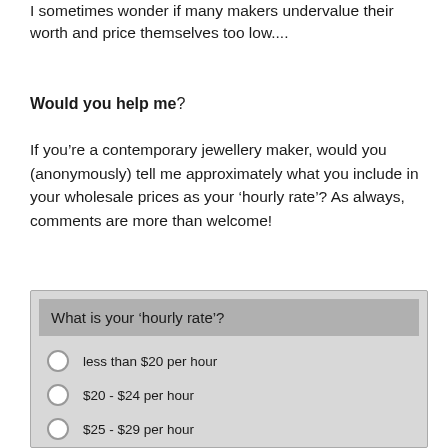I sometimes wonder if many makers undervalue their worth and price themselves too low....
Would you help me?
If you’re a contemporary jewellery maker, would you (anonymously) tell me approximately what you include in your wholesale prices as your ‘hourly rate’? As always, comments are more than welcome!
[Figure (other): Survey widget titled 'What is your hourly rate?' with radio button options: less than $20 per hour, $20 - $24 per hour, $25 - $29 per hour, $30 - $34 per hour]